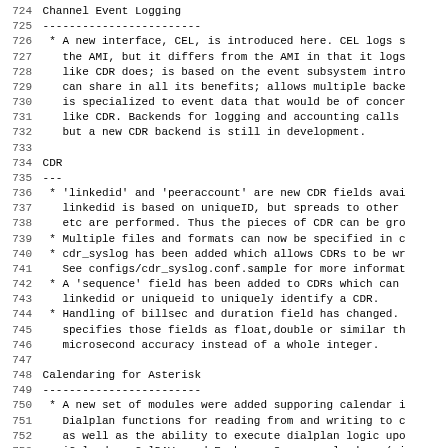Channel Event Logging
------------------------
* A new interface, CEL, is introduced here. CEL logs s the AMI, but it differs from the AMI in that it logs like CDR does; is based on the event subsystem intro can share in all its benefits; allows multiple backe is specialized to event data that would be of concer like CDR. Backends for logging and accounting calls but a new CDR backend is still in development.
CDR
---
* 'linkedid' and 'peeraccount' are new CDR fields avai linkedid is based on uniqueID, but spreads to other etc are performed. Thus the pieces of CDR can be gro
* Multiple files and formats can now be specified in c
* cdr_syslog has been added which allows CDRs to be wr See configs/cdr_syslog.conf.sample for more informat
* A 'sequence' field has been added to CDRs which can linkedid or uniqueid to uniquely identify a CDR.
* Handling of billsec and duration field has changed. specifies those fields as float,double or similar th microsecond accuracy instead of a whole integer.
Calendaring for Asterisk
------------------------
* A new set of modules were added supporing calendar i Dialplan functions for reading from and writing to c as well as the ability to execute dialplan logic upo iCalendar, CalDAV, and Exchange Server calendars (vi Exchange Server 2003 with no write or attendee suppo Exchange Server 2007+ with full write and attendee